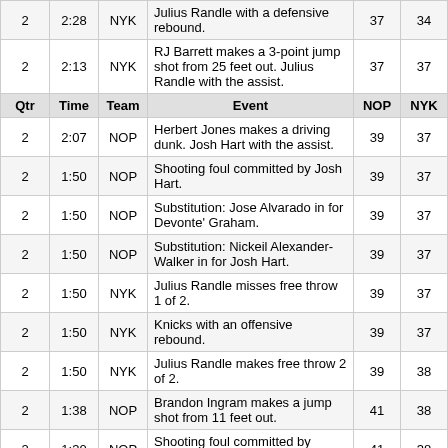| Qtr | Time | Team | Event | NOP | NYK |
| --- | --- | --- | --- | --- | --- |
| 2 | 2:28 | NYK | Julius Randle with a defensive rebound. | 37 | 34 |
| 2 | 2:13 | NYK | RJ Barrett makes a 3-point jump shot from 25 feet out. Julius Randle with the assist. | 37 | 37 |
| Qtr | Time | Team | Event | NOP | NYK |
| 2 | 2:07 | NOP | Herbert Jones makes a driving dunk. Josh Hart with the assist. | 39 | 37 |
| 2 | 1:50 | NOP | Shooting foul committed by Josh Hart. | 39 | 37 |
| 2 | 1:50 | NOP | Substitution: Jose Alvarado in for Devonte' Graham. | 39 | 37 |
| 2 | 1:50 | NOP | Substitution: Nickeil Alexander-Walker in for Josh Hart. | 39 | 37 |
| 2 | 1:50 | NYK | Julius Randle misses free throw 1 of 2. | 39 | 37 |
| 2 | 1:50 | NYK | Knicks with an offensive rebound. | 39 | 37 |
| 2 | 1:50 | NYK | Julius Randle makes free throw 2 of 2. | 39 | 38 |
| 2 | 1:38 | NOP | Brandon Ingram makes a jump shot from 11 feet out. | 41 | 38 |
| 2 | 1:30 | NOP | Shooting foul committed by Herbert Jones. | 41 | 38 |
| 2 | 1:30 | NYK | Substitution: Mitchell Robinson in for Taj Gibson. | 41 | 38 |
| 2 | 1:30 | NOP | Substitution: Jaxson Hayes in for Herbert Jones. | 41 | 38 |